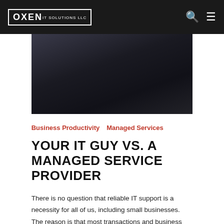OXEN
[Figure (photo): Dark photo of a person sitting at a computer workstation, viewed from behind, in a dimly lit environment.]
Business Productivity   Managed Services
YOUR IT GUY VS. A MANAGED SERVICE PROVIDER
There is no question that reliable IT support is a necessity for all of us, including small businesses. The reason is that most transactions and business functions are completed online. Business owners need to decide on the type of IT